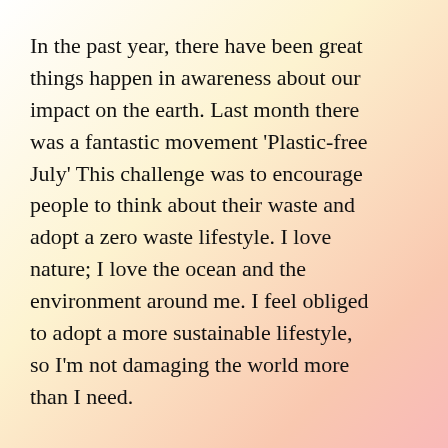In the past year, there have been great things happen in awareness about our impact on the earth. Last month there was a fantastic movement 'Plastic-free July' This challenge was to encourage people to think about their waste and adopt a zero waste lifestyle. I love nature; I love the ocean and the environment around me. I feel obliged to adopt a more sustainable lifestyle, so I'm not damaging the world more than I need.
Its crazy to think that just the simple act of owning a keep cup could stop over 365 cups sitting in landfill per year!!! WOW. I know that I use to